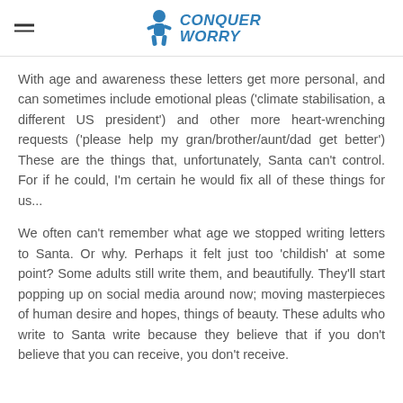Conquer Worry
With age and awareness these letters get more personal, and can sometimes include emotional pleas ('climate stabilisation, a different US president') and other more heart-wrenching requests ('please help my gran/brother/aunt/dad get better') These are the things that, unfortunately, Santa can't control. For if he could, I'm certain he would fix all of these things for us...
We often can't remember what age we stopped writing letters to Santa. Or why. Perhaps it felt just too 'childish' at some point? Some adults still write them, and beautifully. They'll start popping up on social media around now; moving masterpieces of human desire and hopes, things of beauty. These adults who write to Santa write because they believe that if you don't believe that you can receive, you don't receive.